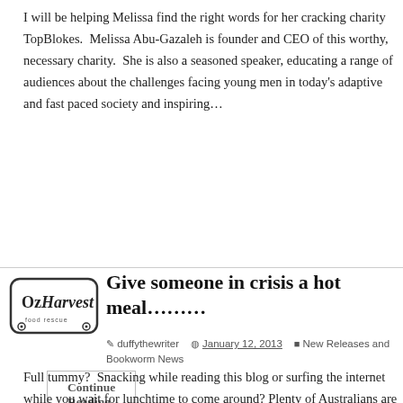I will be helping Melissa find the right words for her cracking charity TopBlokes.  Melissa Abu-Gazaleh is founder and CEO of this worthy, necessary charity.  She is also a seasoned speaker, educating a range of audiences about the challenges facing young men in today's adaptive and fast paced society and inspiring…
Continue Reading »
[Figure (logo): OzHarvest food rescue logo — circular badge with stylized text]
Give someone in crisis a hot meal………
duffythewriter  January 12, 2013  New Releases and Bookworm News
Full tummy?  Snacking while reading this blog or surfing the internet while you wait for lunchtime to come around? Plenty of Australians are going hungry